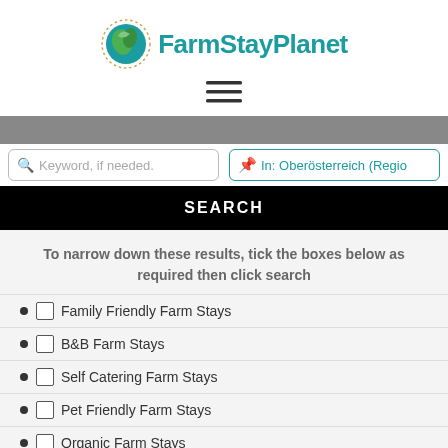[Figure (logo): FarmStayPlanet logo: circular green/teal globe icon with leaf shapes and dotted border, followed by bold teal text 'FarmStayPlanet']
[Figure (other): Hamburger menu icon (three horizontal lines)]
[Figure (screenshot): Gray search bar background strip]
Keyword, if needed.
In: Oberösterreich (Regio
SEARCH
To narrow down these results, tick the boxes below as required then click search
Family Friendly Farm Stays
B&B Farm Stays
Self Catering Farm Stays
Pet Friendly Farm Stays
Organic Farm Stays